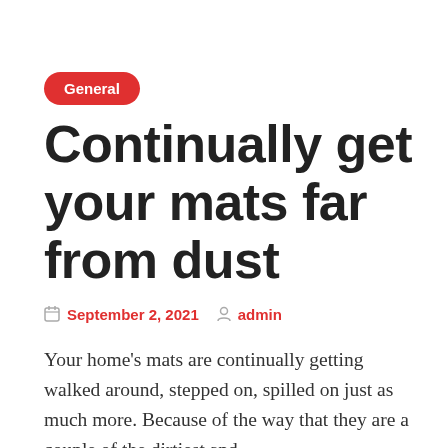General
Continually get your mats far from dust
September 2, 2021   admin
Your home's mats are continually getting walked around, stepped on, spilled on just as much more. Because of the way that they are a couple of the dirtiest and